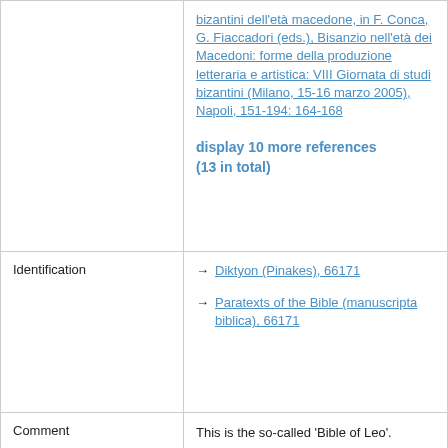|  |  |
| --- | --- |
|  | bizantini dell'età macedone, in F. Conca, G. Fiaccadori (eds.), Bisanzio nell'età dei Macedoni: forme della produzione letteraria e artistica: VIII Giornata di studi bizantini (Milano, 15-16 marzo 2005), Napoli, 151-194: 164-168

display 10 more references (13 in total) |
| Identification | → Diktyon (Pinakes), 66171
→ Paratexts of the Bible (manuscripta biblica), 66171 |
| Comment | This is the so-called 'Bible of Leo'. |